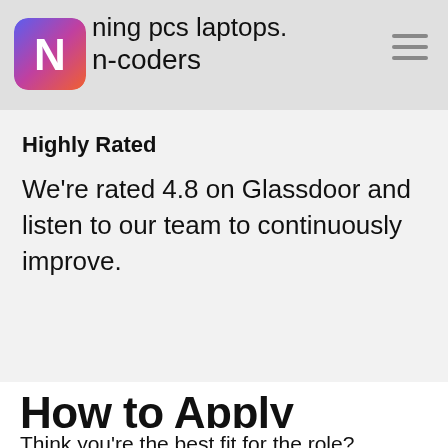ning pcs laptops. n-coders
Highly Rated
We're rated 4.8 on Glassdoor and listen to our team to continuously improve.
How to Apply
Think you're the best fit for the role? If you think you'd be a great fit for